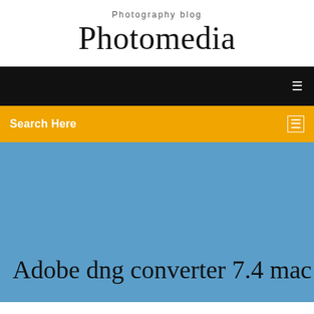Photography blog
Photomedia
[Figure (screenshot): Black navigation bar with white menu icon on right]
Search Here
Adobe dng converter 7.4 mac